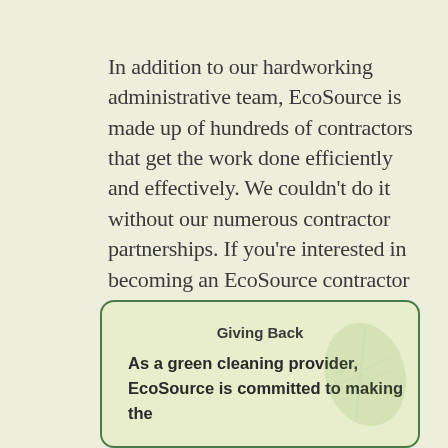In addition to our hardworking administrative team, EcoSource is made up of hundreds of contractors that get the work done efficiently and effectively. We couldn't do it without our numerous contractor partnerships. If you're interested in becoming an EcoSource contractor in the Massachusetts or New Hampshire area, send us a message today!
Giving Back
As a green cleaning provider, EcoSource is committed to making the